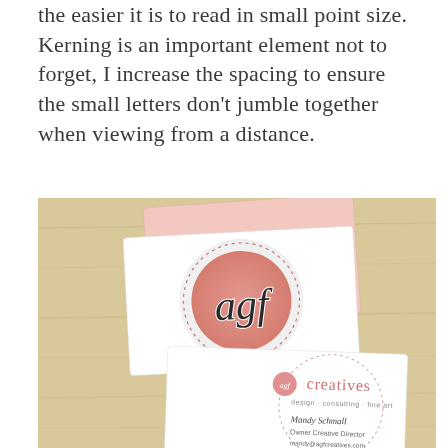the easier it is to read in small point size. Kerning is an important element not to forget, I increase the spacing to ensure the small letters don't jumble together when viewing from a distance.
[Figure (photo): Photograph of two business cards for 'agf creatives' placed on a light wood surface. The front card shows a pink circular logo with dotted border containing the letters 'agf' in serif script. The back card shows the contact side with 'agf creatives' branding, 'design · consulting · fine art', and contact details for Mandy Schmall, Owner Creative Director.]